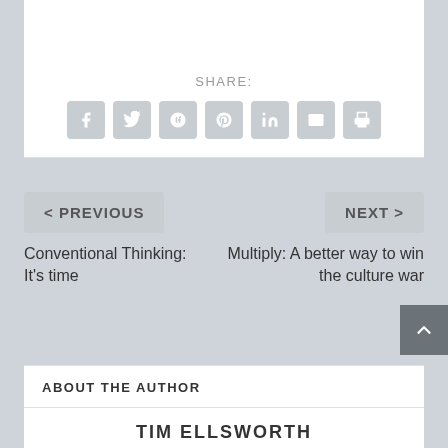SHARE:
[Figure (infographic): Social share buttons: Facebook, Twitter, Google+, Pinterest, LinkedIn, Email, Print]
< PREVIOUS
NEXT >
Conventional Thinking: It's time
Multiply: A better way to win the culture war
ABOUT THE AUTHOR
TIM ELLSWORTH
View all posts by Tim Ellsworth